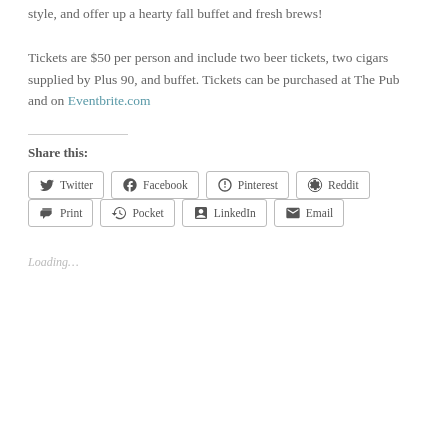style, and offer up a hearty fall buffet and fresh brews!
Tickets are $50 per person and include two beer tickets, two cigars supplied by Plus 90, and buffet. Tickets can be purchased at The Pub and on Eventbrite.com
Share this:
Twitter Facebook Pinterest Reddit Print Pocket LinkedIn Email
Loading…